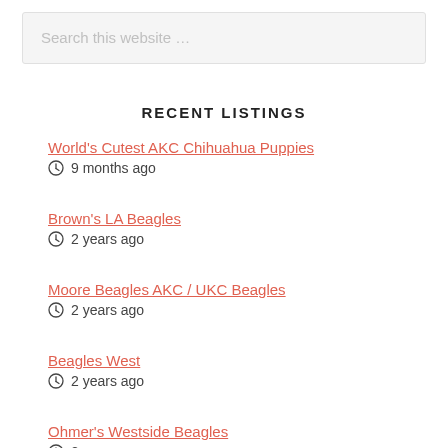Search this website …
RECENT LISTINGS
World's Cutest AKC Chihuahua Puppies
9 months ago
Brown's LA Beagles
2 years ago
Moore Beagles AKC / UKC Beagles
2 years ago
Beagles West
2 years ago
Ohmer's Westside Beagles
2 years ago